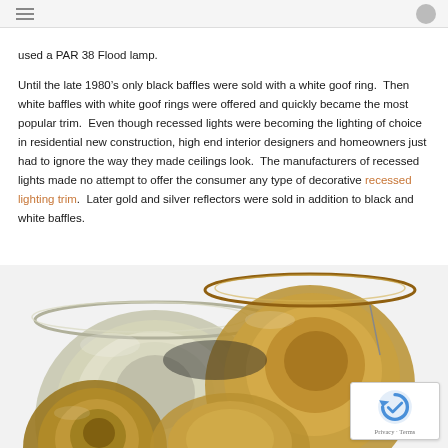used a PAR 38 Flood lamp.

Until the late 1980’s only black baffles were sold with a white goof ring.  Then white baffles with white goof rings were offered and quickly became the most popular trim.  Even though recessed lights were becoming the lighting of choice in residential new construction, high end interior designers and homeowners just had to ignore the way they made ceilings look.  The manufacturers of recessed lights made no attempt to offer the consumer any type of decorative recessed lighting trim.  Later gold and silver reflectors were sold in addition to black and white baffles.
[Figure (photo): Photo of multiple recessed lighting trim rings in gold, silver, and black finishes, overlapping each other on a white background.]